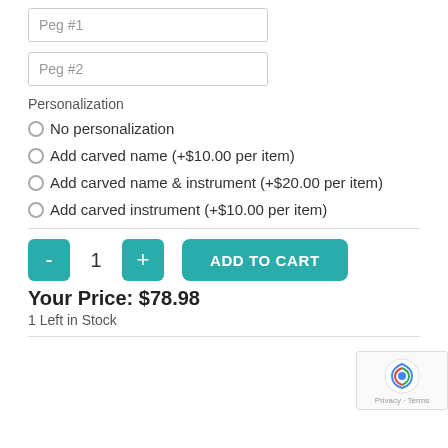Peg #1
Peg #2
Personalization
No personalization
Add carved name (+$10.00 per item)
Add carved name & instrument (+$20.00 per item)
Add carved instrument (+$10.00 per item)
- 1 + ADD TO CART
Your Price: $78.98
1 Left in Stock